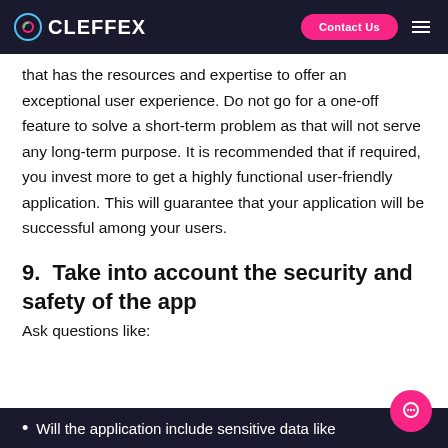CLEFFEX | Contact Us
that has the resources and expertise to offer an exceptional user experience. Do not go for a one-off feature to solve a short-term problem as that will not serve any long-term purpose. It is recommended that if required, you invest more to get a highly functional user-friendly application. This will guarantee that your application will be successful among your users.
9.  Take into account the security and safety of the app
Ask questions like:
Will the application include sensitive data like